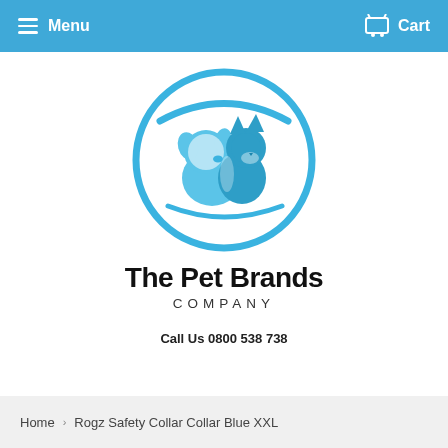Menu  Cart
[Figure (logo): Circular blue logo with white silhouettes of a dog and cat facing each other, with a swoosh arc at the top, in blue color scheme.]
The Pet Brands COMPANY
Call Us 0800 538 738
Home › Rogz Safety Collar Collar Blue XXL